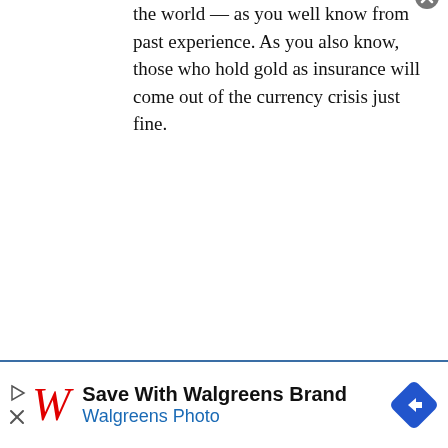the world — as you well know from past experience. As you also know, those who hold gold as insurance will come out of the currency crisis just fine.
[Figure (advertisement): Walgreens advertisement banner: 'Save With Walgreens Brand / Walgreens Photo' with Walgreens cursive logo and blue diamond arrow icon]